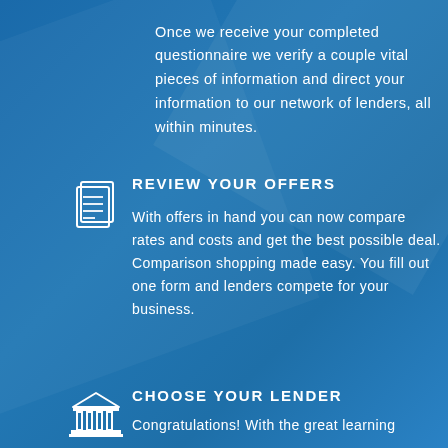Once we receive your completed questionnaire we verify a couple vital pieces of information and direct your information to our network of lenders, all within minutes.
[Figure (illustration): Document/notes icon - two overlapping pages with lines]
REVIEW YOUR OFFERS
With offers in hand you can now compare rates and costs and get the best possible deal. Comparison shopping made easy. You fill out one form and lenders compete for your business.
[Figure (illustration): Bank/institution icon - building with columns and roof]
CHOOSE YOUR LENDER
Congratulations! With the great learning